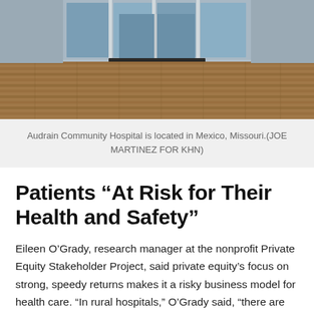[Figure (photo): Photo of the entrance of Audrain Community Hospital showing glass automatic doors, a brick paved entryway with a dark mat, viewed from outside.]
Audrain Community Hospital is located in Mexico, Missouri.(JOE MARTINEZ FOR KHN)
Patients “At Risk for Their Health and Safety”
Eileen O’Grady, research manager at the nonprofit Private Equity Stakeholder Project, said private equity’s focus on strong, speedy returns makes it a risky business model for health care. “In rural hospitals,” O’Grady said, “there are very few ways” to boost revenue and cut expenses “without having an impact on patient care.”